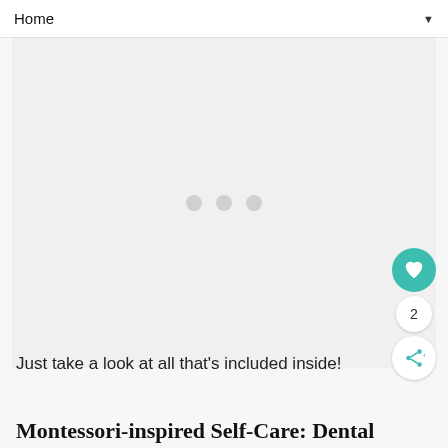Home
[Figure (other): Loading placeholder area with three grey dots centered in a light grey rectangle, representing an advertisement or image loading state]
Just take a look at all that's included inside!
Montessori-inspired Self-Care: Dental